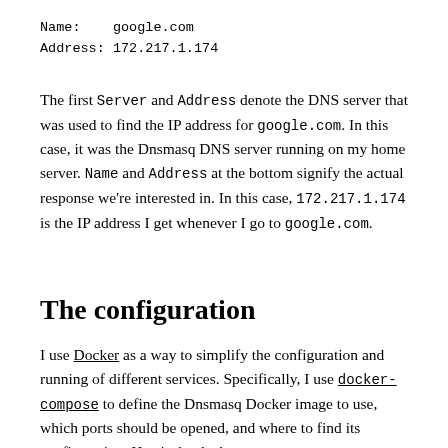Name:    google.com
Address: 172.217.1.174
The first Server and Address denote the DNS server that was used to find the IP address for google.com. In this case, it was the Dnsmasq DNS server running on my home server. Name and Address at the bottom signify the actual response we're interested in. In this case, 172.217.1.174 is the IP address I get whenever I go to google.com.
The configuration
I use Docker as a way to simplify the configuration and running of different services. Specifically, I use docker-compose to define the Dnsmasq Docker image to use, which ports should be opened, and where to find its configuration. Here's the docker-